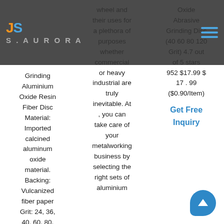JS Aurora - Navigation header with logo and hamburger menu
Grinding Aluminium Oxide Resin Fiber Disc Material: Imported calcined aluminum oxide material. Backing: Vulcanized fiber paper Grit: 24, 36, 40, 60, 80, 120, 180 Hole Type: Round, cross, star
wheel and their uses for a plethora of purposes whether commercial or heavy industrial are truly inevitable. At , you can take care of your metalworking business by selecting the right sets of aluminium
Oxide Abrasive Grinding Disc (40 60 80 120 Grit) 4.7 out of 5 stars 952 $17.99 $ 17 . 99 ($0.90/Item)
Get Free Inquiry